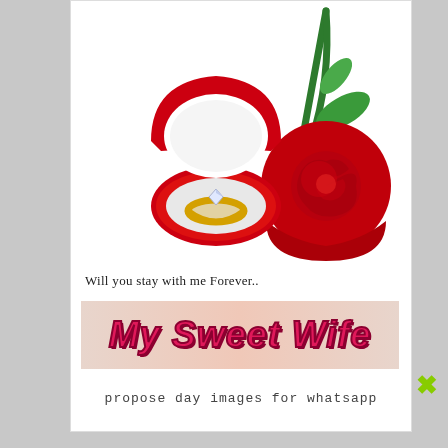[Figure (photo): A red velvet ring box open showing a gold diamond engagement ring, alongside a red rose made of velvet fabric, with green stem and leaves, on a white background.]
Will you stay with me Forever..
[Figure (infographic): A pinkish-beige banner with the text 'My Sweet Wife' in large bold italic pink letters with dark red outline.]
propose day images for whatsapp